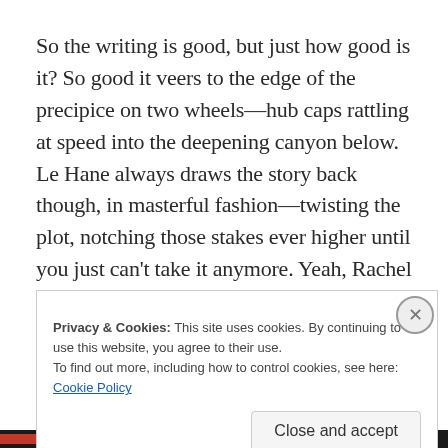So the writing is good, but just how good is it? So good it veers to the edge of the precipice on two wheels—hub caps rattling at speed into the deepening canyon below. Le Hane always draws the story back though, in masterful fashion—twisting the plot, notching those stakes ever higher until you just can't take it anymore. Yeah, Rachel has things tough, but for you, dear Crimeziner, that is a
Privacy & Cookies: This site uses cookies. By continuing to use this website, you agree to their use.
To find out more, including how to control cookies, see here: Cookie Policy
Close and accept
CRIMEZINE